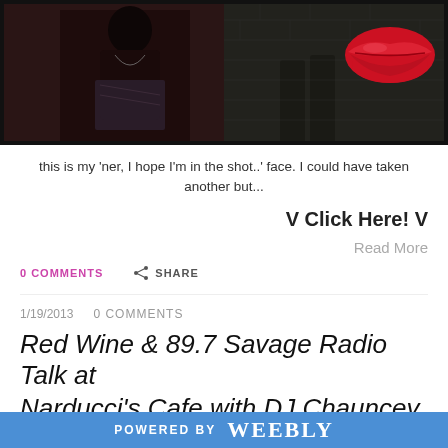[Figure (photo): Two-panel collage photo: left panel shows a woman in dark outfit with patterned skirt holding what appears to be a camera, right panel shows a person's legs in boots against a brick wall with a large red lips graphic overlay.]
this is my 'ner, I hope I'm in the shot..' face. I could have taken another but...
V Click Here! V
Read More
0 COMMENTS   SHARE
1/19/2013   0 COMMENTS
Red Wine & 89.7 Savage Radio Talk at Narducci's Cafe with DJ Chauncey the
POWERED BY weebly